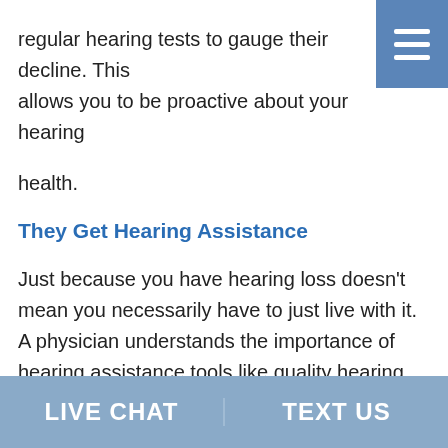regular hearing tests to gauge their decline. This allows you to be proactive about your hearing health.
They Get Hearing Assistance
Just because you have hearing loss doesn't mean you necessarily have to just live with it. A physician understands the importance of hearing assistance tools like quality hearing aids. After getting a hearing test, you can work with a certified retailer to find a brand and model hearing aid that best suits your needs.
For instance, a physician might benefit from hearing aids that are Bluetooth compatible and have
LIVE CHAT   TEXT US